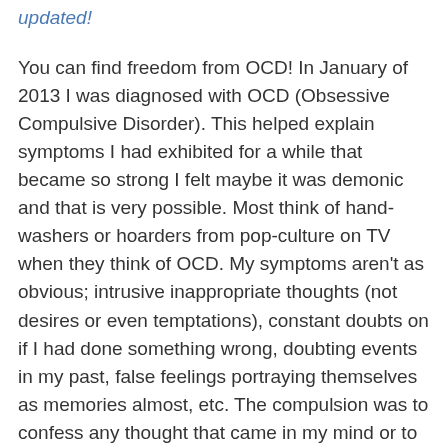updated!
You can find freedom from OCD! In January of 2013 I was diagnosed with OCD (Obsessive Compulsive Disorder). This helped explain symptoms I had exhibited for a while that became so strong I felt maybe it was demonic and that is very possible. Most think of hand-washers or hoarders from pop-culture on TV when they think of OCD. My symptoms aren't as obvious; intrusive inappropriate thoughts (not desires or even temptations), constant doubts on if I had done something wrong, doubting events in my past, false feelings portraying themselves as memories almost, etc. The compulsion was to confess any thought that came in my mind or to reanalyze situations for days, weeks, or months to see if I did something wrong and just missed it. I would analyze words to make sure I